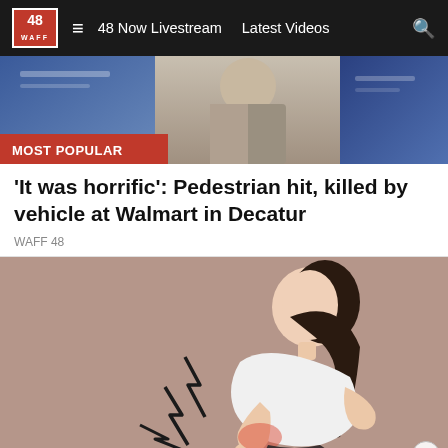48 WAFF  ≡  48 Now Livestream  Latest Videos  🔍
[Figure (photo): MOST POPULAR banner overlay on news thumbnails showing a person in a grey jacket]
'It was horrific': Pedestrian hit, killed by vehicle at Walmart in Decatur
WAFF 48
[Figure (illustration): Cartoon illustration of a woman bent over holding her lower back in pain, with lightning bolt symbols indicating pain, on a mauve/brown background]